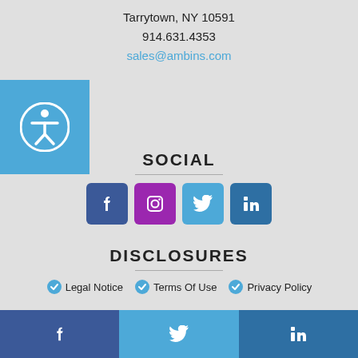Tarrytown, NY 10591
914.631.4353
sales@ambins.com
SOCIAL
[Figure (other): Social media icon buttons: Facebook (blue), Instagram (purple), Twitter (light blue), LinkedIn (dark blue)]
DISCLOSURES
Legal Notice
Terms Of Use
Privacy Policy
NEWSLETTER
CLICK TO SIGN UP!
Site by 744 Creative
[Figure (other): Bottom social media bar with Facebook, Twitter, and LinkedIn icons in blue bands]